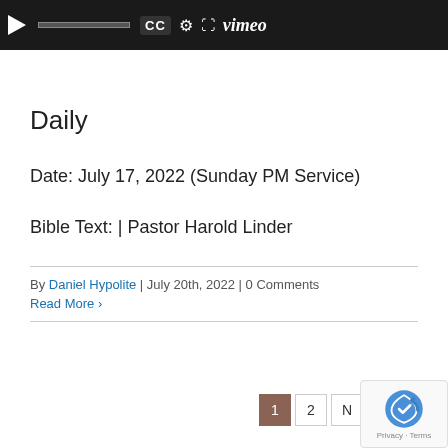[Figure (screenshot): Video player bar with play button, progress bar, CC button, settings gear icon, expand icon, and Vimeo logo on dark background]
Daily
Date: July 17, 2022 (Sunday PM Service)
Bible Text: | Pastor Harold Linder
By Daniel Hypolite | July 20th, 2022 | 0 Comments
Read More >
1  2  N